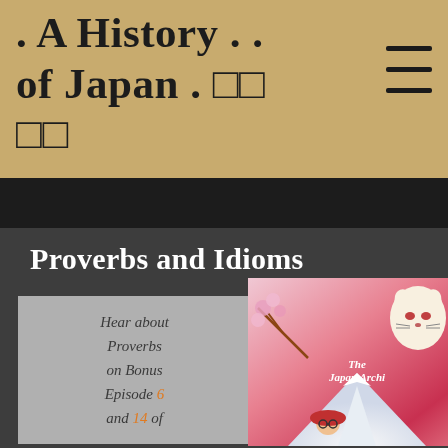. A History . . of Japan . □□ □□
[Figure (screenshot): Hamburger menu icon (three horizontal lines) in upper right of tan header]
Proverbs and Idioms
Hear about Proverbs on Bonus Episode 6 and 14 of
[Figure (illustration): Illustrated Japan Archive podcast cover with cartoon samurai and Mt. Fuji, kitsune fox spirit mask, and cherry blossoms]
[Figure (photo): Photo of a glowing light bulb on a wooden surface with text 'Bonus 6 Proverbs']